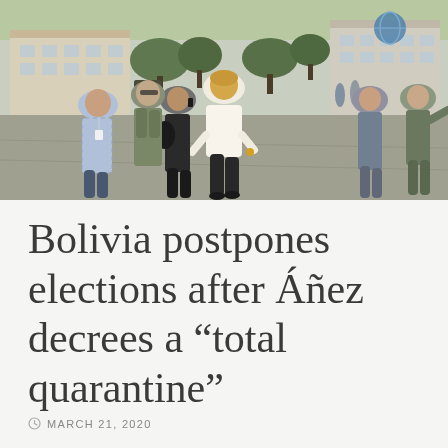[Figure (photo): Group of officials and security personnel walking across an outdoor tarmac or plaza area. A blonde woman in a white blouse and black pants is prominent in the center, flanked by men in business casual and military/security attire. Buildings visible in the background.]
Bolivia postpones elections after Áñez decrees a “total quarantine”
MARCH 21, 2020